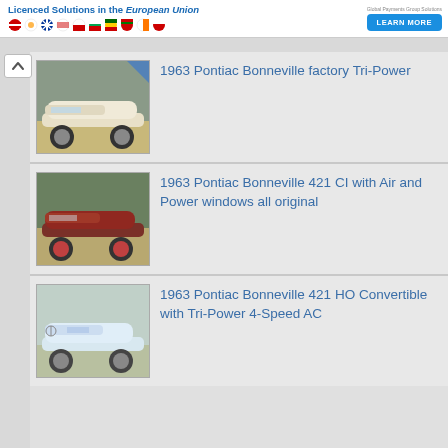Licenced Solutions in the European Union
1963 Pontiac Bonneville factory Tri-Power
1963 Pontiac Bonneville 421 CI with Air and Power windows all original
1963 Pontiac Bonneville 421 HO Convertible with Tri-Power 4-Speed AC